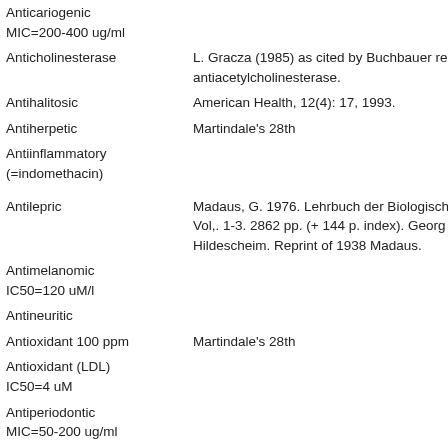| Activity | Reference |
| --- | --- |
| Anticariogenic MIC=200-400 ug/ml |  |
| Anticholinesterase | L. Gracza (1985) as cited by Buchbauer re antiacetylcholinesterase. |
| Antihalitosic | American Health, 12(4): 17, 1993. |
| Antiherpetic | Martindale's 28th |
| Antiinflammatory (=indomethacin) |  |
| Antilepric | Madaus, G. 1976. Lehrbuch der Biologische Vol,. 1-3. 2862 pp. (+ 144 p. index). Georg Hildescheim. Reprint of 1938 Madaus. |
| Antimelanomic IC50=120 uM/l |  |
| Antineuritic |  |
| Antioxidant 100 ppm | Martindale's 28th |
| Antioxidant (LDL) IC50=4 uM |  |
| Antiperiodontic MIC=50-200 ug/ml |  |
| Antiplaque MIC=39-625 ug/ml | Osawa, K., Matsumoto, T., Maruyama, T., T Okuda, K., and Takazoe, I., Studies of the a activity of plant extracts and their constituen periodontopathic bacteria, Bull Tokyo Dent |